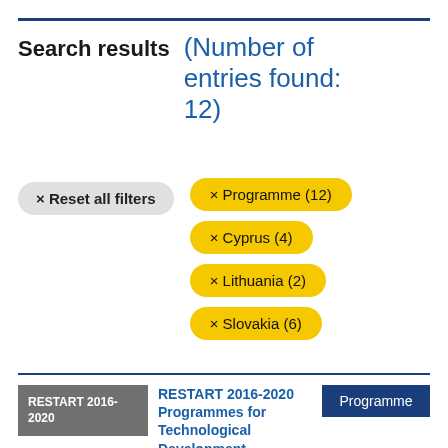Search results (Number of entries found: 12)
× Reset all filters
× Programme (12)
× Cyprus (4)
× Lithuania (2)
× Slovakia (6)
RESTART 2016-2020  RESTART 2016-2020 Programmes for Technological Development  Programme